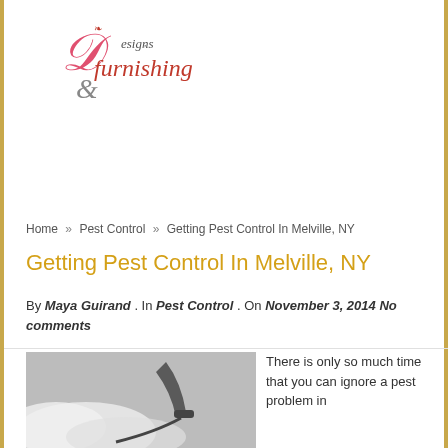[Figure (logo): Designs & Furnishing decorative script logo with ornamental ampersand in pink/crimson and dark text]
Home » Pest Control » Getting Pest Control In Melville, NY
Getting Pest Control In Melville, NY
By Maya Guirand . In Pest Control . On November 3, 2014 No comments
[Figure (photo): Person using a pressure washer or pest control sprayer on a surface, with smoke or mist visible]
There is only so much time that you can ignore a pest problem in